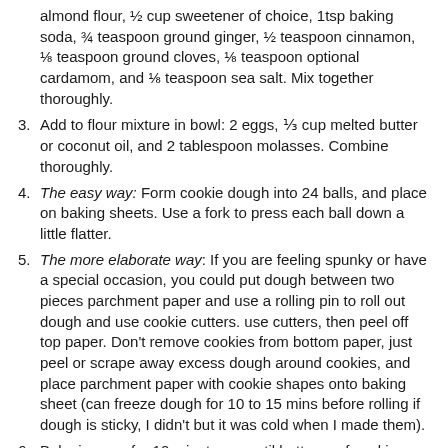almond flour, ½ cup sweetener of choice, 1tsp baking soda, ¾ teaspoon ground ginger, ½ teaspoon cinnamon, ⅛ teaspoon ground cloves, ⅛ teaspoon optional cardamom, and ⅛ teaspoon sea salt. Mix together thoroughly.
Add to flour mixture in bowl: 2 eggs, ⅓ cup melted butter or coconut oil, and 2 tablespoon molasses. Combine thoroughly.
The easy way: Form cookie dough into 24 balls, and place on baking sheets. Use a fork to press each ball down a little flatter.
The more elaborate way: If you are feeling spunky or have a special occasion, you could put dough between two pieces parchment paper and use a rolling pin to roll out dough and use cookie cutters. use cutters, then peel off top paper. Don't remove cookies from bottom paper, just peel or scrape away excess dough around cookies, and place parchment paper with cookie shapes onto baking sheet (can freeze dough for 10 to 15 mins before rolling if dough is sticky, I didn't but it was cold when I made them).
Bake in oven for 10 minutes or until bottoms of cookies are browned.